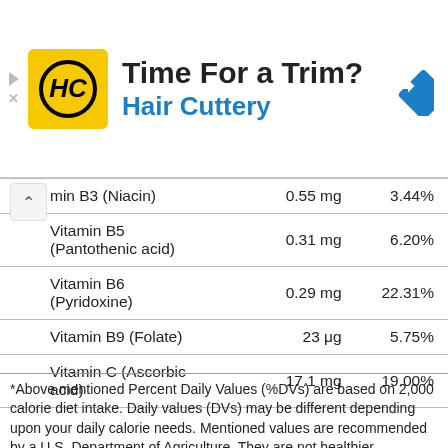[Figure (logo): Hair Cuttery advertisement banner with yellow HC logo, text 'Time For a Trim?' and 'Hair Cuttery' in blue, and a blue navigation diamond icon on the right.]
| Nutrient | Amount | %DV |
| --- | --- | --- |
| Vitamin B3 (Niacin) | 0.55 mg | 3.44% |
| Vitamin B5 (Pantothenic acid) | 0.31 mg | 6.20% |
| Vitamin B6 (Pyridoxine) | 0.29 mg | 22.31% |
| Vitamin B9 (Folate) | 23 μg | 5.75% |
| Vitamin C (Ascorbic acid) | 17.1 mg | 19.00% |
*Above mentioned Percent Daily Values (%DVs) are based on 2,000 calorie diet intake. Daily values (DVs) may be different depending upon your daily calorie needs. Mentioned values are recommended by a U.S. Department of Agriculture. They are not healthier. Statements are recommended by